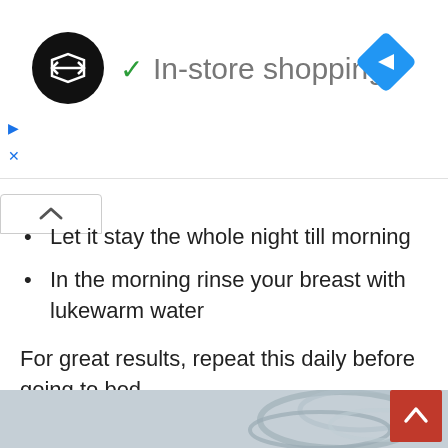[Figure (screenshot): Ad bar showing a logo (black circle with white arrows), a green checkmark with 'In-store shopping' text, a blue navigation diamond icon, a play button, and an X close button]
Let it stay the whole night till morning
In the morning rinse your breast with lukewarm water
For great results, repeat this daily before going to bed.
5. Fennel Seeds
[Figure (photo): Partial photo of fennel seeds or similar plant/herb material with a back-to-top button overlay]